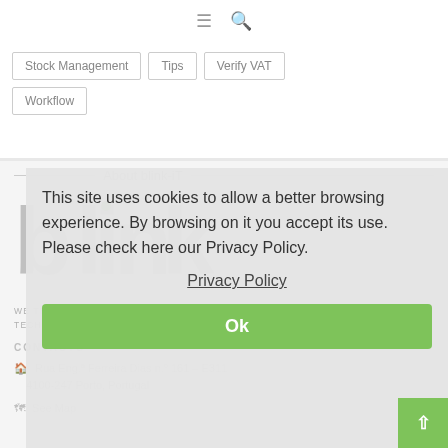≡  🔍
Stock Management
Tips
Verify VAT
Workflow
About blink-iT
[Figure (logo): blink-iT logo in grey and green]
WE TRANSLATE BUSINESS LANGUAGE INTO TECHNICAL LANGUAGE.
CONTACTS
Rua Eng.ª Ferreira Dias n.º 161 – E311
4100-247 Porto, Portugal
See Map
This site uses cookies to allow a better browsing experience. By browsing on it you accept its use. Please check here our Privacy Policy.
Privacy Policy
Ok